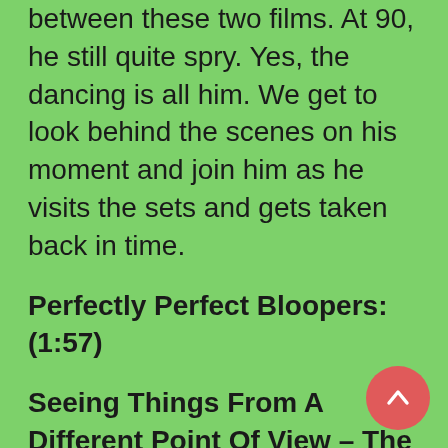between these two films. At 90, he still quite spry. Yes, the dancing is all him. We get to look behind the scenes on his moment and join him as he visits the sets and gets taken back in time.
Perfectly Perfect Bloopers: (1:57)
Seeing Things From A Different Point Of View – The Musical Numbers Of Mary Poppins Returns: You can select from four of the film's music numbers and go behind the scenes to see how they